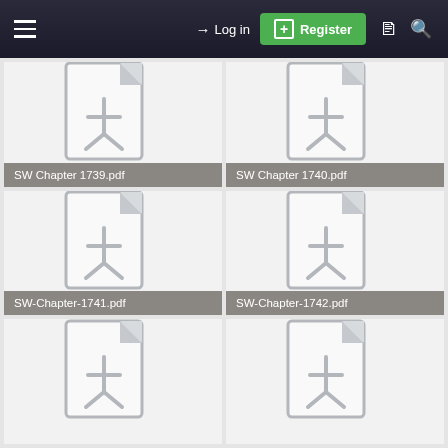Log in  Register
[Figure (screenshot): PDF file icon for SW Chapter 1739.pdf]
SW Chapter 1739.pdf
[Figure (screenshot): PDF file icon for SW Chapter 1740.pdf]
SW Chapter 1740.pdf
[Figure (screenshot): PDF file icon for SW-Chapter-1741.pdf]
SW-Chapter-1741.pdf
[Figure (screenshot): PDF file icon for SW-Chapter-1742.pdf]
SW-Chapter-1742.pdf